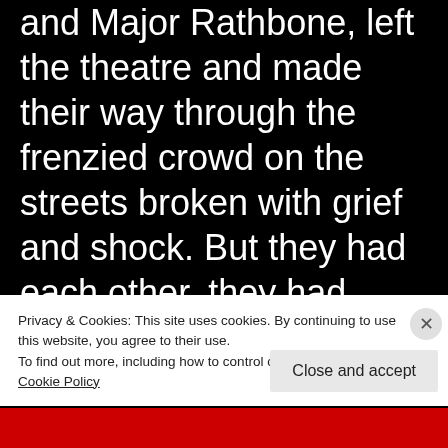and Major Rathbone, left the theatre and made their way through the frenzied crowd on the streets broken with grief and shock. But they had each other, they had wealth and position and all the good things of life. They
Privacy & Cookies: This site uses cookies. By continuing to use this website, you agree to their use.
To find out more, including how to control cookies, see here: Cookie Policy
Close and accept